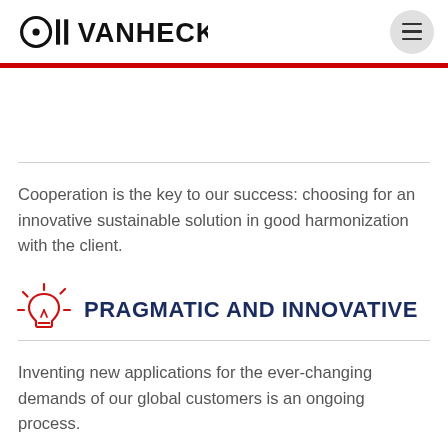DE VANHECK
Cooperation is the key to our success: choosing for an innovative sustainable solution in good harmonization with the client.
PRAGMATIC AND INNOVATIVE
Inventing new applications for the ever-changing demands of our global customers is an ongoing process.